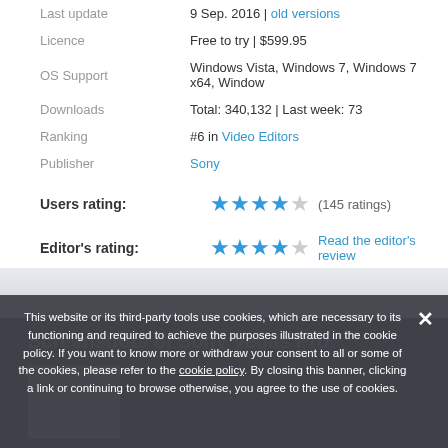| Last update | 9 Sep. 2016 | old versions |
| Licence | Free to try | $599.95 |
| OS Support | Windows Vista, Windows 7, Windows 7 x64, Window... |
| Downloads | Total: 340,132 | Last week: 73 |
| Ranking | #6 in Video Editors |
| Publisher | Sony |
Users rating: ★★★★☆ (145 ratings)
Editor's rating: ★★★★☆ Read the editor's review
Screenshots of Sony Vegas Pro
This website or its third-party tools use cookies, which are necessary to its functioning and required to achieve the purposes illustrated in the cookie policy. If you want to know more or withdraw your consent to all or some of the cookies, please refer to the cookie policy. By closing this banner, clicking a link or continuing to browse otherwise, you agree to the use of cookies.